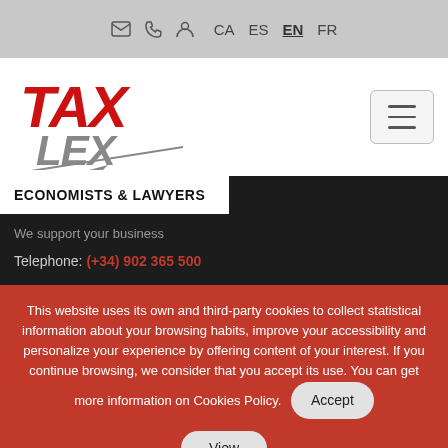CA  ES  EN  FR — navigation icons
[Figure (logo): TaxLex red and grey logo with stylized italic text TAX LEX]
ECONOMISTS & LAWYERS
We support your business
Telephone: (+34) 902 365 500
This website uses its own and third-party cookies to collect statistical information about your browsing habits, improve your accessibility and personalize your experience by offering content of your interest. If you continue browsing, we consider that you accept its use. You can get more information on Cookies Policy.
Accept
View